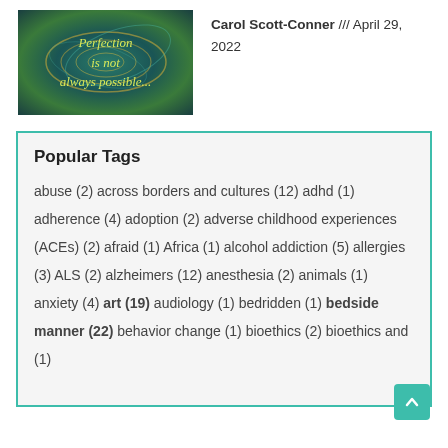[Figure (illustration): Thumbnail image with swirling teal/gold pattern and text 'Perfection is not always possible...' in yellow-green italic font]
Carol Scott-Conner /// April 29, 2022
Popular Tags
abuse (2) across borders and cultures (12) adhd (1) adherence (4) adoption (2) adverse childhood experiences (ACEs) (2) afraid (1) Africa (1) alcohol addiction (5) allergies (3) ALS (2) alzheimers (12) anesthesia (2) animals (1) anxiety (4) art (19) audiology (1) bedridden (1) bedside manner (22) behavior change (1) bioethics (2) bioethics and (1)